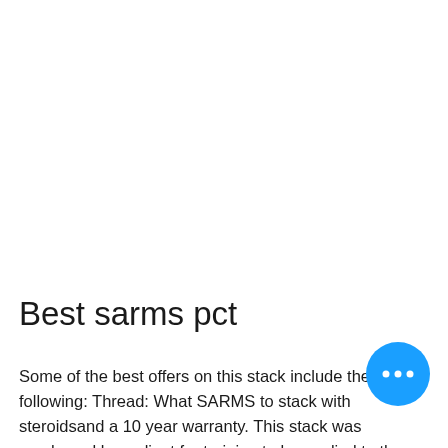Best sarms pct
Some of the best offers on this stack include the following: Thread: What SARMS to stack with steroidsand a 10 year warranty. This stack was purchased by a client for training to be applied to the legs. He has been to build some amazing gains through an advanced stack, best sarms for women's